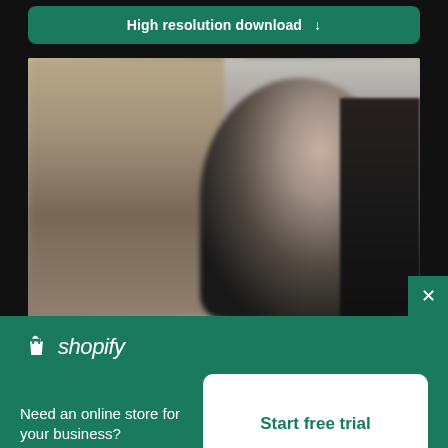[Figure (screenshot): A green download button with the text 'High resolution download' and a downward arrow]
[Figure (photo): Blurry photo of a person with dark hair in profile view, appears to be in a subway or indoor setting]
Need an online store for your business?
[Figure (logo): Shopify logo: shopping bag icon and italic 'shopify' wordmark in white]
Start free trial